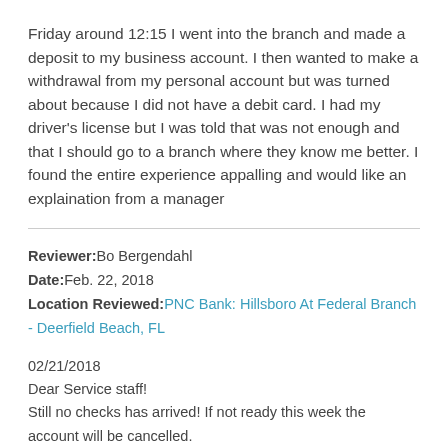Friday around 12:15 I went into the branch and made a deposit to my business account. I then wanted to make a withdrawal from my personal account but was turned about because I did not have a debit card. I had my driver's license but I was told that was not enough and that I should go to a branch where they know me better. I found the entire experience appalling and would like an explaination from a manager
Reviewer: Bo Bergendahl
Date: Feb. 22, 2018
Location Reviewed: PNC Bank: Hillsboro At Federal Branch - Deerfield Beach, FL
02/21/2018
Dear Service staff!
Still no checks has arrived! If not ready this week the account will be cancelled.
Account: Bo Bergendahl
-'- #: 267084199: 1210479456